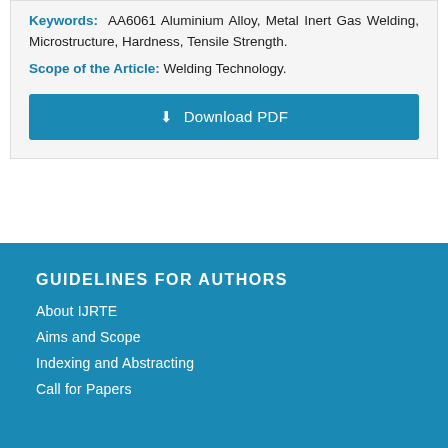Keywords: AA6061 Aluminium Alloy, Metal Inert Gas Welding, Microstructure, Hardness, Tensile Strength.
Scope of the Article: Welding Technology.
Download PDF
GUIDELINES FOR AUTHORS
About IJRTE
Aims and Scope
Indexing and Abstracting
Call for Papers